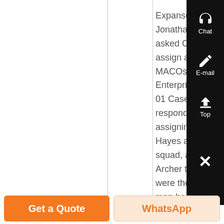Expanse, Jonathan Archer asked Casey to assign a team of MACOs to Enterprise NX-01 Casey responded by assigning Major Hayes and his squad, assuring Archer that they were the best men he had
Chat
E-mail
Top
Get a Quote
WhatsApp